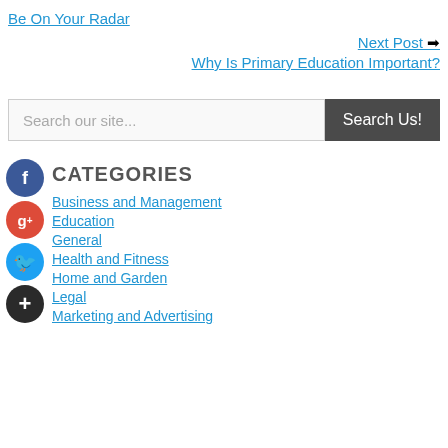Be On Your Radar
Next Post ➡
Why Is Primary Education Important?
Search our site...
CATEGORIES
Business and Management
Education
General
Health and Fitness
Home and Garden
Legal
Marketing and Advertising